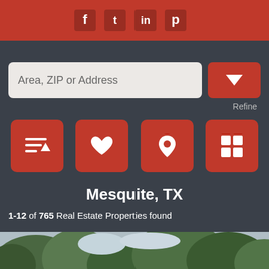[Figure (screenshot): Top red banner with social media icons (Facebook, Twitter, LinkedIn, Pinterest)]
[Figure (screenshot): Search input field with text 'Area, ZIP or Address' and a red dropdown button with chevron]
Refine
[Figure (screenshot): Four red action buttons: sort/filter list, favorites heart, map pin, grid view]
Mesquite, TX
1-12 of 765 Real Estate Properties found
[Figure (photo): Outdoor photo showing trees against a sky, top of a property listing image]